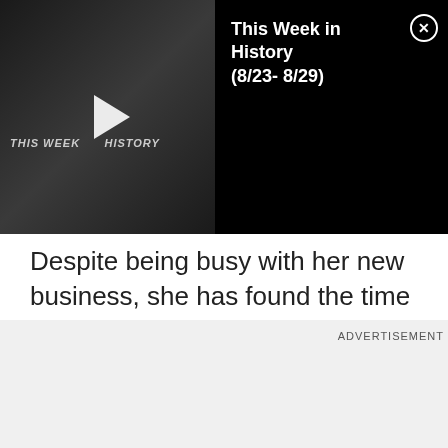[Figure (screenshot): Video player overlay showing 'THIS WEEK IN HISTORY' thumbnail with play button on left, and video title 'This Week in History (8/23- 8/29)' with close button on black background on right]
Despite being busy with her new business, she has found the time to teach, along with a local artist, an art and cooking workshop for children who have been stuck at home attending virtual classes for the last year.
ADVERTISEMENT